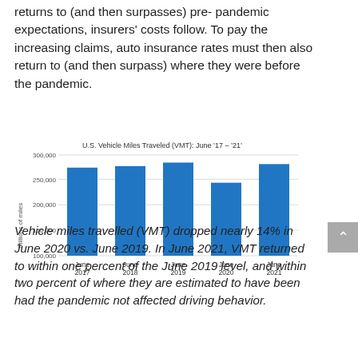returns to (and then surpasses) pre-pandemic expectations, insurers' costs follow. To pay the increasing claims, auto insurance rates must then also return to (and then surpass) where they were before the pandemic.
[Figure (bar-chart): U.S. Vehicle Miles Traveled (VMT): June '17 – '21']
Vehicle miles travelled (VMT) dropped nearly 14% in June 2020 vs. June 2019. In June 2021, VMT returned to within one percent of the June 2019 level, and within two percent of where they are estimated to have been had the pandemic not affected driving behavior.